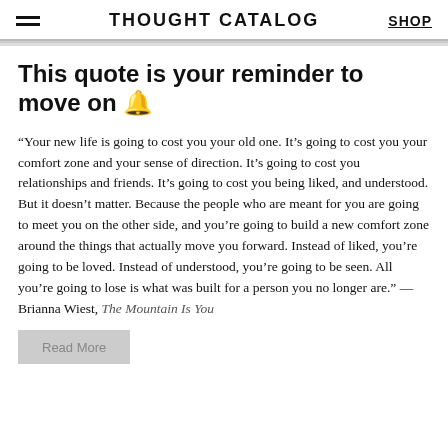THOUGHT CATALOG | SHOP
This quote is your reminder to move on 🔔
“Your new life is going to cost you your old one. It’s going to cost you your comfort zone and your sense of direction. It’s going to cost you relationships and friends. It’s going to cost you being liked, and understood. But it doesn’t matter. Because the people who are meant for you are going to meet you on the other side, and you’re going to build a new comfort zone around the things that actually move you forward. Instead of liked, you’re going to be loved. Instead of understood, you’re going to be seen. All you’re going to lose is what was built for a person you no longer are.” — Brianna Wiest, The Mountain Is You